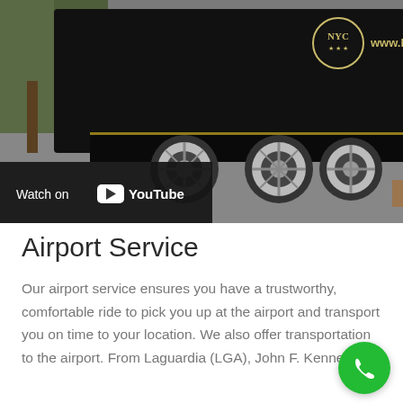[Figure (screenshot): YouTube video thumbnail showing a black luxury stretch SUV/limo with NYC logo and 'www.N...' text, with 'Watch on YouTube' overlay bar at the bottom left. The vehicle has chrome wheels visible and is on a road with trees in the background.]
Airport Service
Our airport service ensures you have a trustworthy, comfortable ride to pick you up at the airport and transport you on time to your location. We also offer transportation to the airport. From Laguardia (LGA), John F. Kennedy